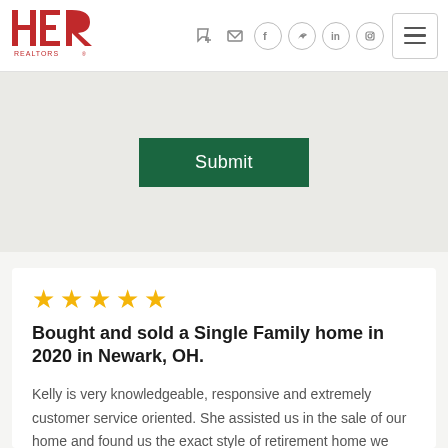HER Realtors navigation header with logo, icons, and hamburger menu
[Figure (logo): HER Realtors logo in red with stylized letters H, E, R and text REALTORS below]
Submit
★★★★★
Bought and sold a Single Family home in 2020 in Newark, OH.
Kelly is very knowledgeable, responsive and extremely customer service oriented. She assisted us in the sale of our home and found us the exact style of retirement home we were looking for. She is professional, courteous, and made